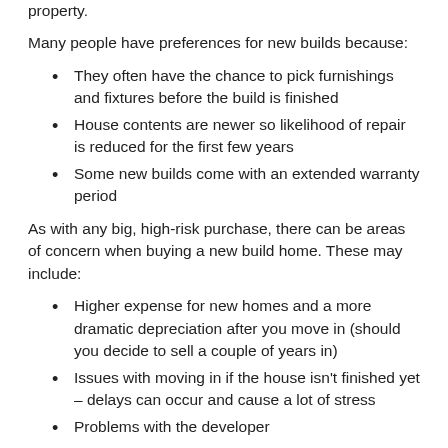property.
Many people have preferences for new builds because:
They often have the chance to pick furnishings and fixtures before the build is finished
House contents are newer so likelihood of repair is reduced for the first few years
Some new builds come with an extended warranty period
As with any big, high-risk purchase, there can be areas of concern when buying a new build home. These may include:
Higher expense for new homes and a more dramatic depreciation after you move in (should you decide to sell a couple of years in)
Issues with moving in if the house isn't finished yet – delays can occur and cause a lot of stress
Problems with the developer
It should be highlighted that the below information is an extract...